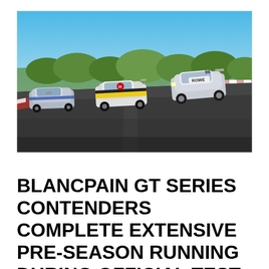[Figure (photo): Racing GT cars on a circuit track under a clear blue sky. Multiple race cars including a Porsche with ROWE branding, an NSX-style car, and an Aston Martin are shown on track with trees and a pink curb visible in the background.]
BLANCPAIN GT SERIES CONTENDERS COMPLETE EXTENSIVE PRE-SEASON RUNNING DURING OFFICIAL TEST DAYS